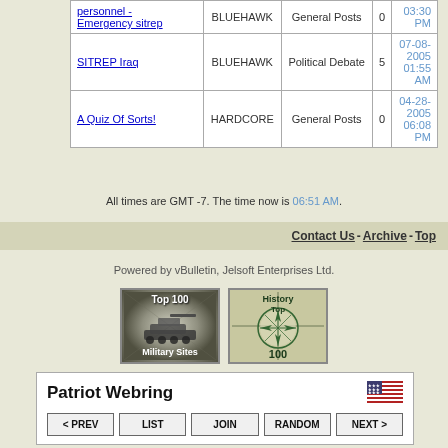| Topic | Author | Forum | Replies | Last Post |
| --- | --- | --- | --- | --- |
| personnel - Emergency sitrep | BLUEHAWK | General Posts | 0 | 03:30 PM |
| SITREP Iraq | BLUEHAWK | Political Debate | 5 | 07-08-2005 01:55 AM |
| A Quiz Of Sorts! | HARDCORE | General Posts | 0 | 04-28-2005 06:08 PM |
All times are GMT -7. The time now is 06:51 AM.
Contact Us - Archive - Top
Powered by vBulletin, Jelsoft Enterprises Ltd.
[Figure (illustration): Top 100 Military Sites badge with tank image]
[Figure (illustration): History Top 100 badge with compass rose]
Patriot Webring with navigation buttons: < PREV, LIST, JOIN, RANDOM, NEXT >